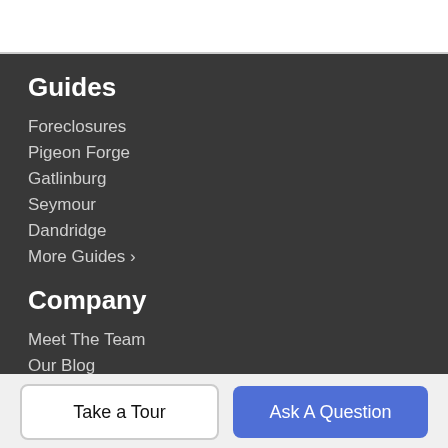Guides
Foreclosures
Pigeon Forge
Gatlinburg
Seymour
Dandridge
More Guides >
Company
Meet The Team
Our Blog
Contact Us
Take a Tour
Ask A Question